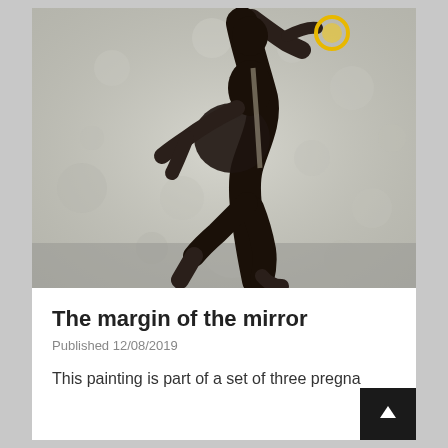[Figure (illustration): A painting of a pregnant dark-silhouetted running figure against a mottled grey-white textured background with a small yellow circular element in the upper right area.]
The margin of the mirror
Published 12/08/2019
This painting is part of a set of three pregna...